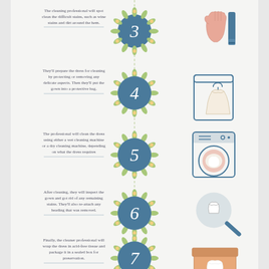[Figure (infographic): Wedding dress cleaning process infographic showing steps 3-7. Each step has a numbered blue floral circle in the center, descriptive text on the left, and an icon on the right. Step 3: spot clean stains (glove/brush icon). Step 4: prepare dress in protective bag (garment bag icon). Step 5: wet or dry cleaning machine (washing machine icon). Step 6: inspect and remove remaining stains, re-attach beading (magnifying glass icon). Step 7: wrap in acid-free tissue and package in sealed box (box icon).]